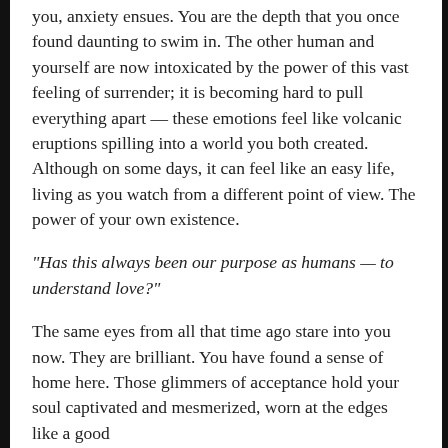you, anxiety ensues. You are the depth that you once found daunting to swim in. The other human and yourself are now intoxicated by the power of this vast feeling of surrender; it is becoming hard to pull everything apart — these emotions feel like volcanic eruptions spilling into a world you both created. Although on some days, it can feel like an easy life, living as you watch from a different point of view. The power of your own existence.
“Has this always been our purpose as humans — to understand love?”
The same eyes from all that time ago stare into you now. They are brilliant. You have found a sense of home here. Those glimmers of acceptance hold your soul captivated and mesmerized, worn at the edges like a good